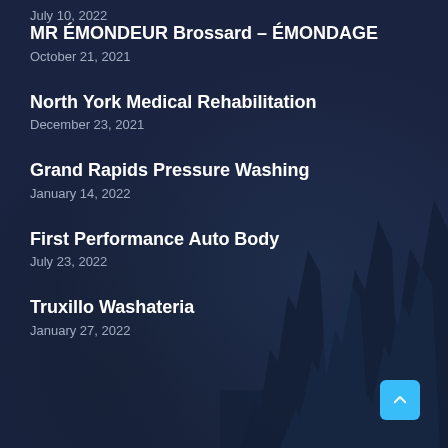July 10, 2022
MR ÉMONDEUR Brossard – ÉMONDAGE
October 21, 2021
North York Medical Rehabilitation
December 23, 2021
Grand Rapids Pressure Washing
January 14, 2022
First Performance Auto Body
July 23, 2022
Truxillo Washateria
January 27, 2022